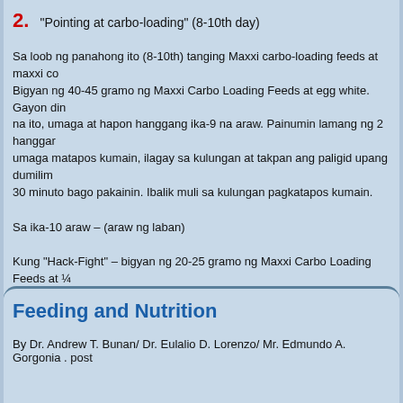2. "Pointing at carbo-loading" (8-10th day)
Sa loob ng panahong ito (8-10th) tanging Maxxi carbo-loading feeds at maxxi co... Bigyan ng 40-45 gramo ng Maxxi Carbo Loading Feeds at egg white. Gayon din na ito, umaga at hapon hanggang ika-9 na araw. Painumin lamang ng 2 hangga... umaga matapos kumain, ilagay sa kulungan at takpan ang paligid upang dumilim... 30 minuto bago pakainin. Ibalik muli sa kulungan pagkatapos kumain.
Sa ika-10 araw – (araw ng laban)
Kung “Hack-Fight” – bigyan ng 20-25 gramo ng Maxxi Carbo Loading Feeds at ¼...
Kung “Derby Fight” bigyan lamang ng 20-25 gramo ng Maxxi Carbo Loading at ¼... bigyan ng tubig. Matapos ang 8 oras bigyan muli ng ½ kutsara ng Maxxi Carbo L... na oras bago ang laban.
Feeding and Nutrition
By Dr. Andrew T. Bunan/ Dr. Eulalio D. Lorenzo/ Mr. Edmundo A. Gorgonia . post...